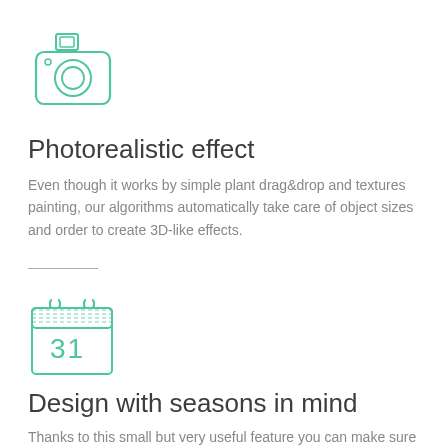[Figure (illustration): Teal/mint outline illustration of a camera with a small screen on top]
Photorealistic effect
Even though it works by simple plant drag&drop and textures painting, our algorithms automatically take care of object sizes and order to create 3D-like effects.
[Figure (illustration): Teal/mint outline illustration of a calendar showing the number 31 with decorative top]
Design with seasons in mind
Thanks to this small but very useful feature you can make sure how the plants you want to grow in your garden will look like through all four seasons of the year. Just use the